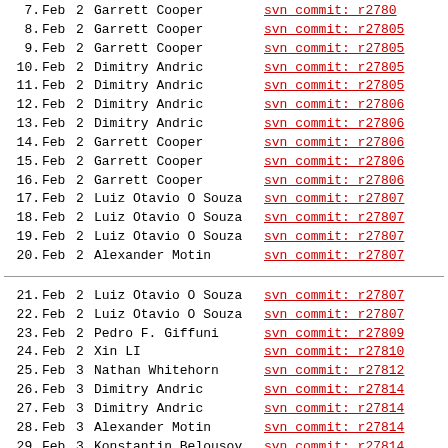8. Feb 2 Garrett Cooper svn commit: r27805
9. Feb 2 Garrett Cooper svn commit: r27805
10. Feb 2 Dimitry Andric svn commit: r27805
11. Feb 2 Dimitry Andric svn commit: r27805
12. Feb 2 Dimitry Andric svn commit: r27806
13. Feb 2 Dimitry Andric svn commit: r27806
14. Feb 2 Garrett Cooper svn commit: r27806
15. Feb 2 Garrett Cooper svn commit: r27806
16. Feb 2 Garrett Cooper svn commit: r27806
17. Feb 2 Luiz Otavio O Souza svn commit: r27807
18. Feb 2 Luiz Otavio O Souza svn commit: r27807
19. Feb 2 Luiz Otavio O Souza svn commit: r27807
20. Feb 2 Alexander Motin svn commit: r27807
21. Feb 2 Luiz Otavio O Souza svn commit: r27807
22. Feb 2 Luiz Otavio O Souza svn commit: r27807
23. Feb 2 Pedro F. Giffuni svn commit: r27809
24. Feb 2 Xin LI svn commit: r27810
25. Feb 3 Nathan Whitehorn svn commit: r27812
26. Feb 3 Dimitry Andric svn commit: r27814
27. Feb 3 Dimitry Andric svn commit: r27814
28. Feb 3 Alexander Motin svn commit: r27814
29. Feb 3 Konstantin Belousov svn commit: r27814
30. Feb 3 Konstantin Belousov svn commit: r27815
31. Feb 3 Pedro F. Giffuni svn commit: r27815
32. Feb 3 Ed Maste svn commit: r27814